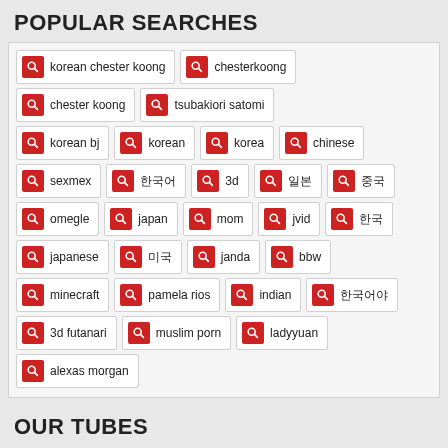POPULAR SEARCHES
korean chester koong
chesterkoong
chester koong
tsubakiori satomi
korean bj
korean
korea
chinese
sexmex
한국어
3d
일본
중국
omegle
japan
mom
jvid
한국
japanese
미국
janda
bbw
minecraft
pamela rios
indian
한국어야
3d futanari
muslim porn
ladyyuan
alexas morgan
OUR TUBES